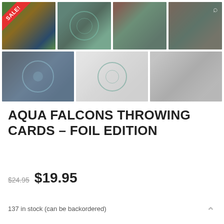[Figure (photo): Product gallery grid showing 7 thumbnail images of Aqua Falcons Throwing Cards Foil Edition. Top row: 4 images showing card designs with holographic foil, ornate spade ace design, card back pattern, and decorative card design. Bottom row: 3 images showing glowing circular design, card box with falcon emblem, and spread of multiple cards. First image has a red SALE! diagonal banner in top-left corner. Last image in top row has a search magnifier icon.]
AQUA FALCONS THROWING CARDS – FOIL EDITION
$24.95  $19.95
137 in stock (can be backordered)